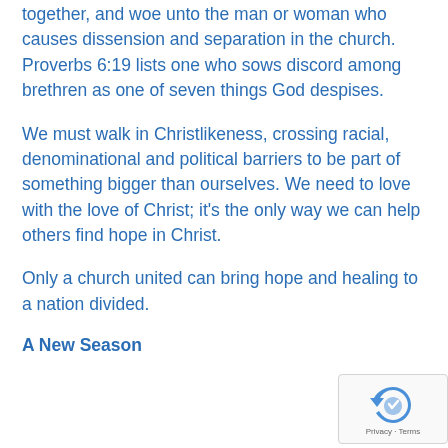together, and woe unto the man or woman who causes dissension and separation in the church. Proverbs 6:19 lists one who sows discord among brethren as one of seven things God despises.
We must walk in Christlikeness, crossing racial, denominational and political barriers to be part of something bigger than ourselves. We need to love with the love of Christ; it's the only way we can help others find hope in Christ.
Only a church united can bring hope and healing to a nation divided.
A New Season